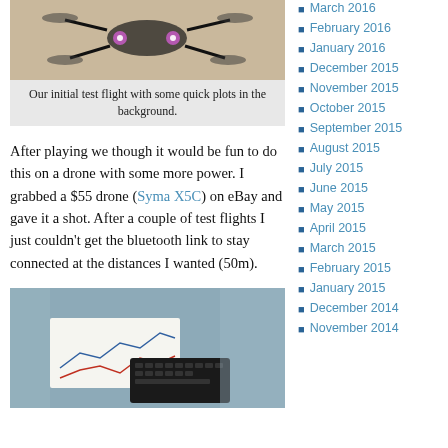[Figure (photo): Drone with glowing LEDs in flight against a light background]
Our initial test flight with some quick plots in the background.
After playing we though it would be fun to do this on a drone with some more power. I grabbed a $55 drone (Syma X5C) on eBay and gave it a shot. After a couple of test flights I just couldn't get the bluetooth link to stay connected at the distances I wanted (50m).
[Figure (photo): Drone or device photographed from below/above with paper charts and keyboard visible]
March 2016
February 2016
January 2016
December 2015
November 2015
October 2015
September 2015
August 2015
July 2015
June 2015
May 2015
April 2015
March 2015
February 2015
January 2015
December 2014
November 2014